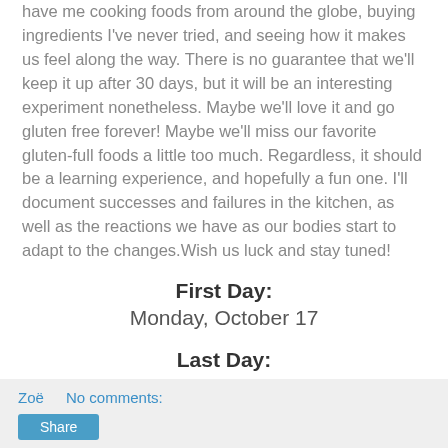have me cooking foods from around the globe, buying ingredients I've never tried, and seeing how it makes us feel along the way. There is no guarantee that we'll keep it up after 30 days, but it will be an interesting experiment nonetheless. Maybe we'll love it and go gluten free forever! Maybe we'll miss our favorite gluten-full foods a little too much. Regardless, it should be a learning experience, and hopefully a fun one. I'll document successes and failures in the kitchen, as well as the reactions we have as our bodies start to adapt to the changes.Wish us luck and stay tuned!
First Day:
Monday, October 17
Last Day:
Tuesday, November 15
Zoë   No comments:
Share